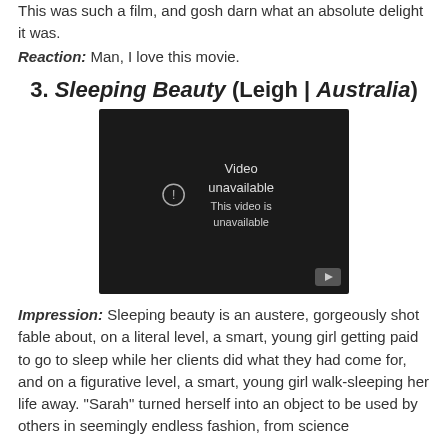This was such a film, and gosh darn what an absolute delight it was.
Reaction: Man, I love this movie.
3. Sleeping Beauty (Leigh | Australia)
[Figure (screenshot): Embedded YouTube video player showing 'Video unavailable - This video is unavailable' message on a dark background with a YouTube play button icon in the bottom right corner.]
Impression: Sleeping beauty is an austere, gorgeously shot fable about, on a literal level, a smart, young girl getting paid to go to sleep while her clients did what they had come for, and on a figurative level, a smart, young girl walk-sleeping her life away. "Sarah" turned herself into an object to be used by others in seemingly endless fashion, from science